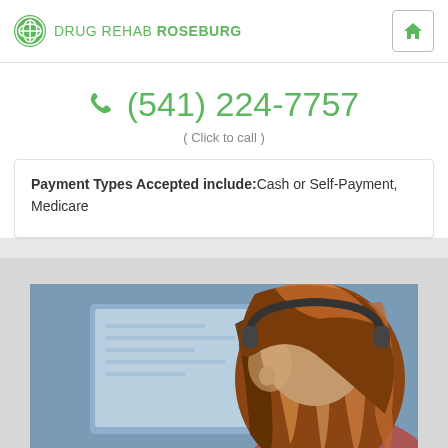DRUG REHAB ROSEBURG
(541) 224-7757 ( Click to call )
Payment Types Accepted include: Cash or Self-Payment, Medicare
[Figure (photo): Woman with auburn/red highlighted hair sitting at a computer, viewed from behind/side]